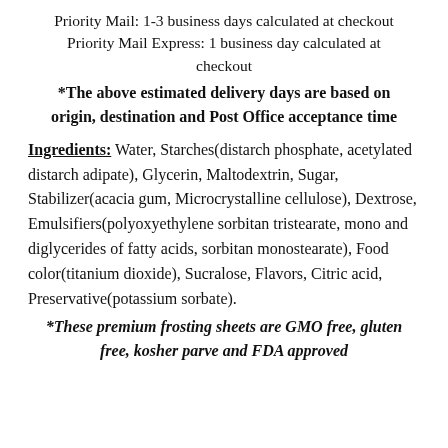Priority Mail: 1-3 business days calculated at checkout
Priority Mail Express: 1 business day calculated at checkout
*The above estimated delivery days are based on origin, destination and Post Office acceptance time
Ingredients: Water, Starches(distarch phosphate, acetylated distarch adipate), Glycerin, Maltodextrin, Sugar, Stabilizer(acacia gum, Microcrystalline cellulose), Dextrose, Emulsifiers(polyoxyethylene sorbitan tristearate, mono and diglycerides of fatty acids, sorbitan monostearate), Food color(titanium dioxide), Sucralose, Flavors, Citric acid, Preservative(potassium sorbate).
*These premium frosting sheets are GMO free, gluten free, kosher parve and FDA approved